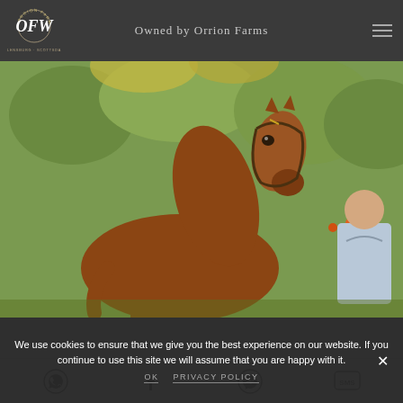Owned by Orrion Farms
[Figure (logo): Orrion Farms OFW logo - white script on dark background, Ellensburg · Scottsdale]
[Figure (photo): Arabian horse with chestnut coat and bridle standing in front of green trees, with a man in a light blue shirt visible in the background]
We use cookies to ensure that we give you the best experience on our website. If you continue to use this site we will assume that you are happy with it.
OK   PRIVACY POLICY